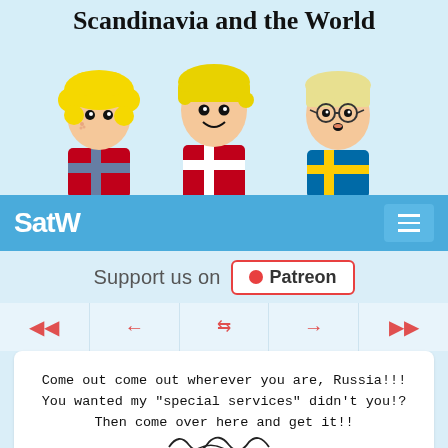Scandinavia and the World
[Figure (illustration): Three cartoon characters with blonde hair wearing shirts with Scandinavian flags (Norway, Denmark, Sweden from left to right)]
SatW
Support us on Patreon
[Figure (screenshot): Navigation controls: skip back, left arrow, shuffle, right arrow, skip forward — all in red/coral color]
[Figure (illustration): Comic panel showing text: Come out come out wherever you are, Russia!!! You wanted my "special services" didn't you!? Then come over here and get it!! with squiggly lines and a hedgehog at the bottom]